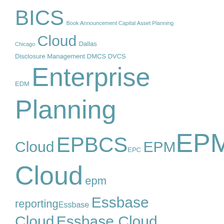[Figure (infographic): Tag cloud of Oracle EPM/BI related terms in varying font sizes indicating frequency/importance. Terms include BICS, Book Announcement, Capital Asset Planning, Chicago, Cloud, Dallas, Disclosure Management, DMCS, DVCS, EDM, Enterprise Planning Cloud, EPBCS, EPC, EPM, EPM Cloud, epm reporting, Essbase, Essbase Cloud, Essbase Cloud Service, EssCS, FCC, FCCS, Financial Reporting, Financial Reports, Financials, Financial Statement Planning, Firefox, FR, Groovy, HFM, IOUG, KScope15, KScope16, Kscope17, Kscope19, Management Reporting, Narrative Reporting, Narrative Reporting (formerly EPRCS), OAC, OBIEE, ODTUG, ODTUG Board, OOW, Oracle, Oracle ACE, Oracle BI, Oracle EPM, Oracle EPM Cloud, Oracle Product Releases]